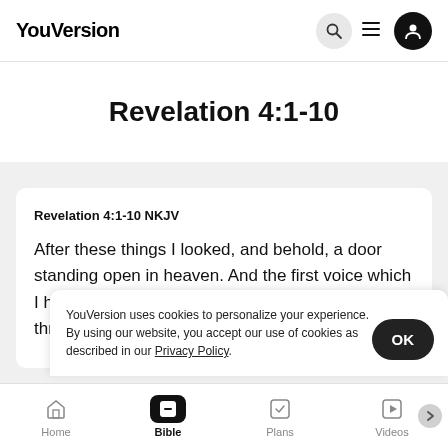YouVersion
Revelation 4:1-10
Revelation 4:1-10 NKJV
After these things I looked, and behold, a door standing open in heaven. And the first voice which I heard w... "Come u... take pla... and behold, a throne set in heaven, and One sat on
YouVersion uses cookies to personalize your experience. By using our website, you accept our use of cookies as described in our Privacy Policy.
Home  Bible  Plans  Videos